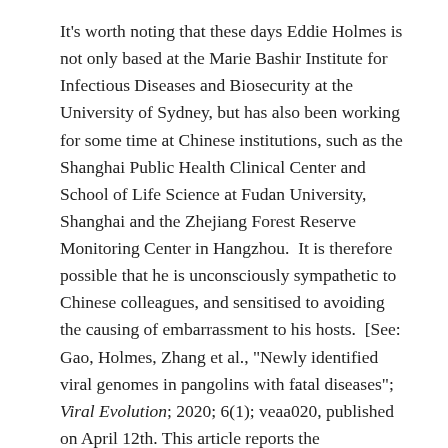It's worth noting that these days Eddie Holmes is not only based at the Marie Bashir Institute for Infectious Diseases and Biosecurity at the University of Sydney, but has also been working for some time at Chinese institutions, such as the Shanghai Public Health Clinical Center and School of Life Science at Fudan University, Shanghai and the Zhejiang Forest Reserve Monitoring Center in Hangzhou.  It is therefore possible that he is unconsciously sympathetic to Chinese colleagues, and sensitised to avoiding the causing of embarrassment to his hosts.  [See: Gao, Holmes, Zhang et al., "Newly identified viral genomes in pangolins with fatal diseases"; Viral Evolution; 2020; 6(1); veaa020, published on April 12th. This article reports the identification of two new viruses in pangolins; however, neither were